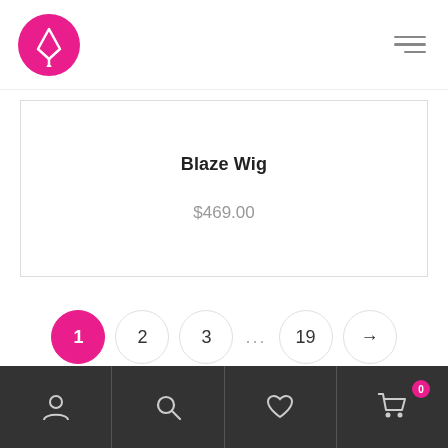[Figure (logo): Pink circle logo with white Y/tuning fork symbol]
Blaze Wig
$469.00
Pagination: 1 (active), 2, 3, ..., 19, →
[Figure (screenshot): Bottom navigation bar with account, search, heart/wishlist, and cart icons on dark background]